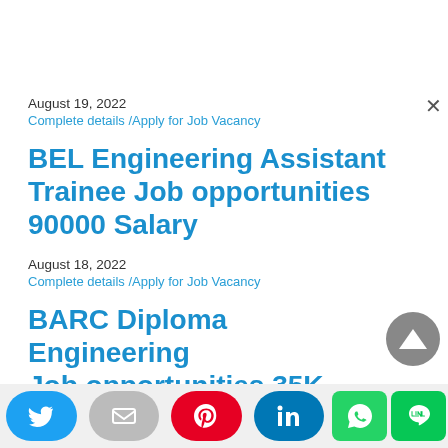August 19, 2022
Complete details /Apply for Job Vacancy
BEL Engineering Assistant Trainee Job opportunities 90000 Salary
August 18, 2022
Complete details /Apply for Job Vacancy
BARC Diploma Engineering Job opportunities 35K Salary
[Figure (other): Social sharing bar with Twitter, Email, Pinterest, LinkedIn, WhatsApp, and LINE buttons]